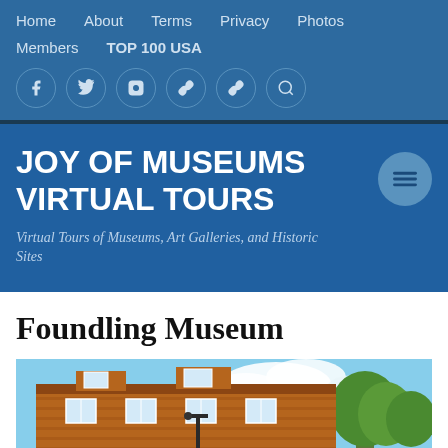Home  About  Terms  Privacy  Photos  Members  TOP 100 USA
JOY OF MUSEUMS VIRTUAL TOURS
Virtual Tours of Museums, Art Galleries, and Historic Sites
Foundling Museum
[Figure (photo): Exterior photo of the Foundling Museum building — brick facade with white sash windows, trees to the right, blue sky with clouds]